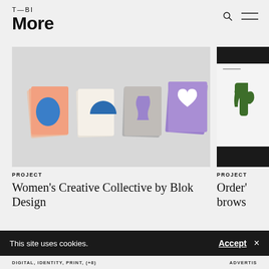T—BI More
[Figure (photo): Four stacks of colorful illustrated cards arranged in a row on a gray background. Cards feature geometric shapes: salmon/blue, white/blue, gray/purple, and purple/white designs.]
PROJECT
Women's Creative Collective by Blok Design
[Figure (photo): Partial view of a poster or artwork featuring a dark green hand/plant shape on a white background, with black bands at top and bottom.]
PROJECT
Order' brows
This site uses cookies.
Accept ×
DIGITAL, IDENTITY, PRINT, (+8)
ADVERTIS